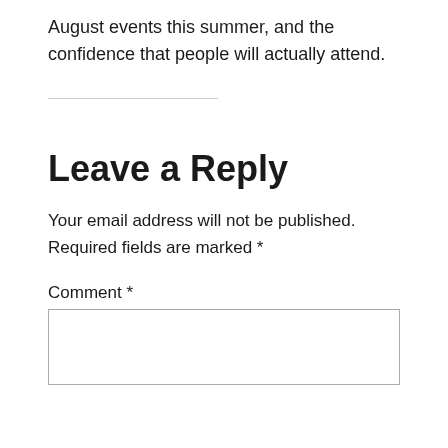August events this summer, and the confidence that people will actually attend.
Leave a Reply
Your email address will not be published. Required fields are marked *
Comment *